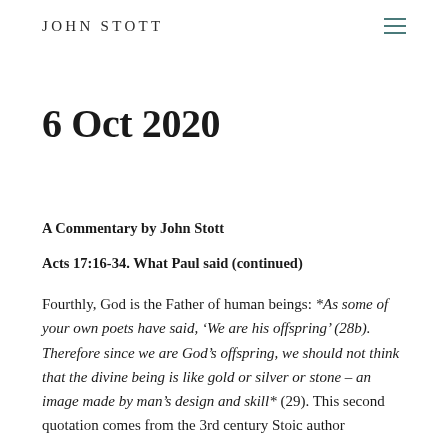JOHN STOTT
6 Oct 2020
A Commentary by John Stott
Acts 17:16-34. What Paul said (continued)
Fourthly, God is the Father of human beings: *As some of your own poets have said, ‘We are his offspring’ (28b). Therefore since we are God’s offspring, we should not think that the divine being is like gold or silver or stone – an image made by man’s design and skill* (29). This second quotation comes from the 3rd century Stoic author